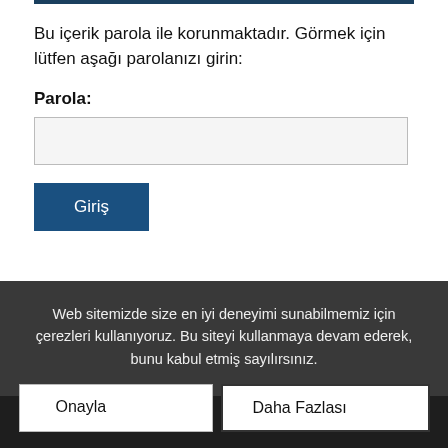Bu içerik parola ile korunmaktadır. Görmek için lütfen aşağı parolanızı girin:
Parola:
Giriş
Web sitemizde size en iyi deneyimi sunabilmemiz için çerezleri kullanıyoruz. Bu siteyi kullanmaya devam ederek, bunu kabul etmiş sayılırsınız.
Onayla
Daha Fazlası